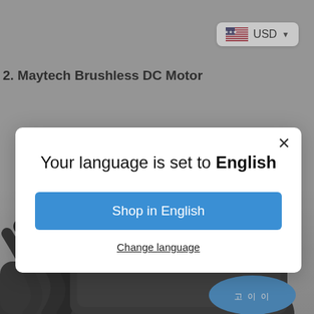[Figure (screenshot): E-commerce website screenshot showing a product page for Maytech Brushless DC Motor with a language selection modal overlay. Top right has a USD currency selector with US flag. A modal dialog box is visible with text 'Your language is set to English', a blue 'Shop in English' button, and a 'Change language' link. Background shows a dark motor/cable product image at the bottom with a blue Korean-text oval button.]
2. Maytech Brushless DC Motor
Your language is set to English
Shop in English
Change language